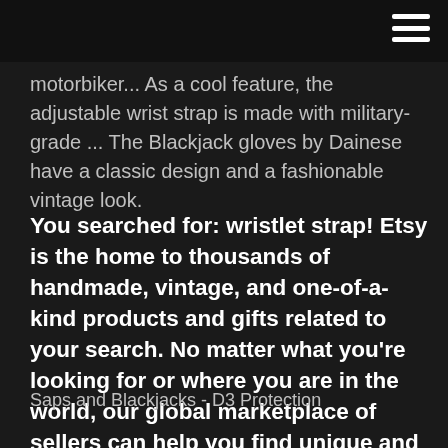motorbiker... As a cool feature, the adjustable wrist strap is made with military-grade ... The Blackjack gloves by Dainese have a classic design and a fashionable vintage look.
You searched for: wristlet strap! Etsy is the home to thousands of handmade, vintage, and one-of-a-kind products and gifts related to your search. No matter what you're looking for or where you are in the world, our global marketplace of sellers can help you find unique and affordable options. Let's get started!
Saps and Blackjacks - D3 Protection